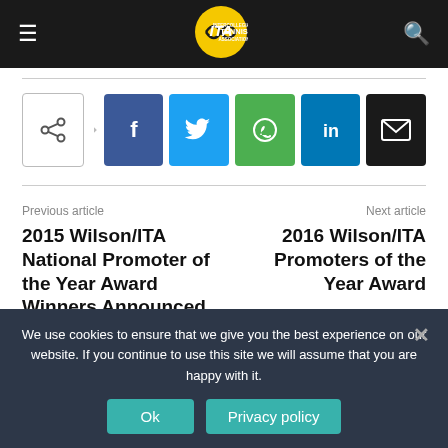ITA Intercollegiate Tennis Association
[Figure (infographic): Social share buttons: share icon, Facebook, Twitter, WhatsApp, LinkedIn, Email]
Previous article
2015 Wilson/ITA National Promoter of the Year Award Winners Announced
Next article
2016 Wilson/ITA Promoters of the Year Award
We use cookies to ensure that we give you the best experience on our website. If you continue to use this site we will assume that you are happy with it.